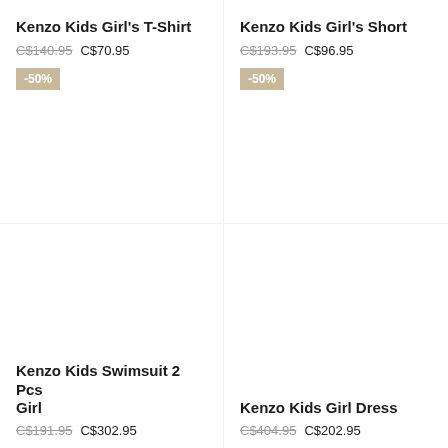Kenzo Kids Girl's T-Shirt
C$140.95  C$70.95
-50%
Kenzo Kids Girl's Short
C$193.95  C$96.95
-50%
Kenzo Kids Swimsuit 2 Pcs Girl
Kenzo Kids Girl Dress
C$404.95  C$202.95